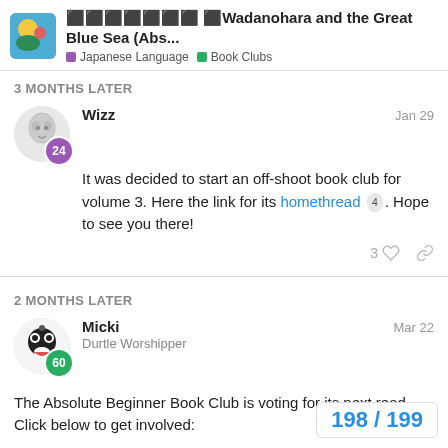⬛⬛⬛⬛⬛⬛⬛ ⬛Wadanohara and the Great Blue Sea (Abs... | Japanese Language | Book Clubs
3 MONTHS LATER
Wizz — Jan 29
It was decided to start an off-shoot book club for volume 3. Here the link for its homethread 4 . Hope to see you there!
3 ♡ 🔗
2 MONTHS LATER
Micki — Mar 22
Durtle Worshipper
The Absolute Beginner Book Club is voting for its next read. Click below to get involved:
198 / 199